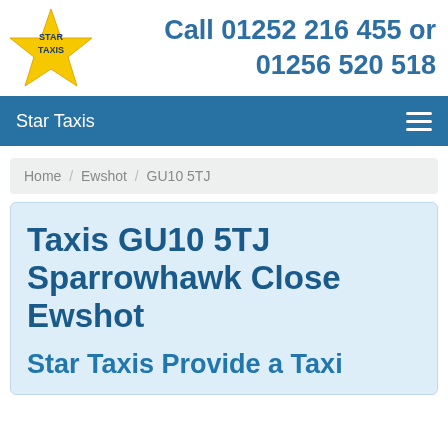[Figure (logo): Star Taxis yellow star logo with 'STAR TAXIS' text inside]
Call 01252 216 455 or 01256 520 518
Star Taxis
Home / Ewshot / GU10 5TJ
Taxis GU10 5TJ Sparrowhawk Close Ewshot
Star Taxis Provide a Taxi